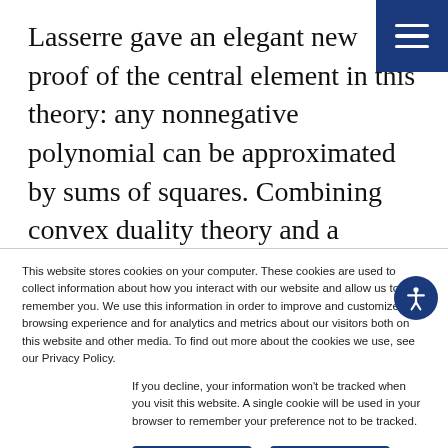Lasserre gave an elegant new proof of the central element in this theory: any nonnegative polynomial can be approximated by sums of squares. Combining convex duality theory and a moment-theoretic result, he constructed approximating polynomials that are both
This website stores cookies on your computer. These cookies are used to collect information about how you interact with our website and allow us to remember you. We use this information in order to improve and customize your browsing experience and for analytics and metrics about our visitors both on this website and other media. To find out more about the cookies we use, see our Privacy Policy.
If you decline, your information won't be tracked when you visit this website. A single cookie will be used in your browser to remember your preference not to be tracked.